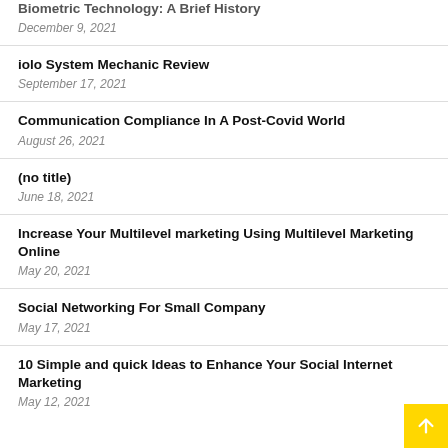Biometric Technology: A Brief History
December 9, 2021
iolo System Mechanic Review
September 17, 2021
Communication Compliance In A Post-Covid World
August 26, 2021
(no title)
June 18, 2021
Increase Your Multilevel marketing Using Multilevel Marketing Online
May 20, 2021
Social Networking For Small Company
May 17, 2021
10 Simple and quick Ideas to Enhance Your Social Internet Marketing
May 12, 2021